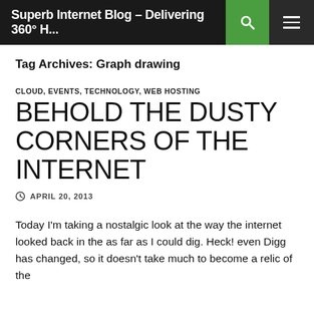Superb Internet Blog – Delivering 360° H...
Tag Archives: Graph drawing
CLOUD, EVENTS, TECHNOLOGY, WEB HOSTING
BEHOLD THE DUSTY CORNERS OF THE INTERNET
APRIL 20, 2013
Today I'm taking a nostalgic look at the way the internet looked back in the as far as I could dig. Heck! even Digg has changed, so it doesn't take much to become a relic of the